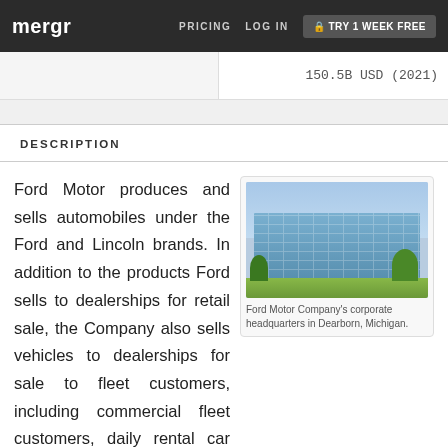mergr | PRICING | LOG IN | TRY 1 WEEK FREE
150.5B USD (2021)
DESCRIPTION
Ford Motor produces and sells automobiles under the Ford and Lincoln brands. In addition to the products Ford sells to dealerships for retail sale, the Company also sells vehicles to dealerships for sale to fleet customers, including commercial fleet customers, daily rental car companies, and governments. Ford Motor also sells parts and accessories, primarily to dealerships and to authorized parts distributors. Through its
[Figure (photo): Ford Motor Company's corporate headquarters building in Dearborn, Michigan]
Ford Motor Company's corporate headquarters in Dearborn, Michigan.